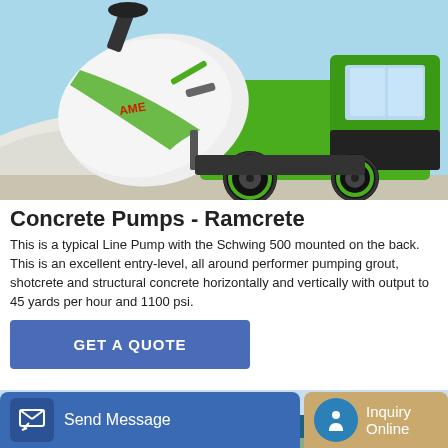[Figure (photo): Green concrete mixer truck (Schwing 500 line pump) parked outdoors against a bright sky background with white gravel/sand pile]
Concrete Pumps - Ramcrete
This is a typical Line Pump with the Schwing 500 mounted on the back. This is an excellent entry-level, all around performer pumping grout, shotcrete and structural concrete horizontally and vertically with output to 45 yards per hour and 1100 psi.
[Figure (other): GET A QUOTE button — blue rectangle with white text]
[Figure (photo): Partial view of a second concrete equipment photo at bottom of page]
[Figure (other): Bottom navigation bar with Send Message button (blue) and Inquiry Online button (tan/gold)]